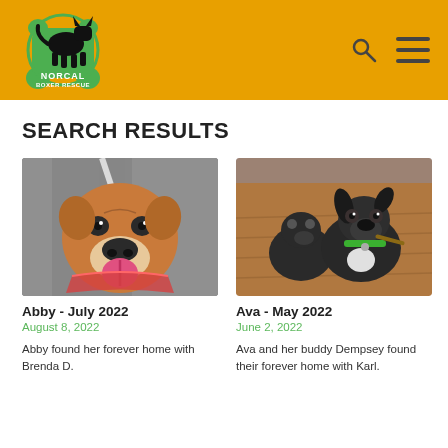[Figure (logo): NorCal Boxer Rescue logo with a black boxer dog silhouette on an amber/golden header background, with search and hamburger menu icons on the right]
SEARCH RESULTS
[Figure (photo): Close-up photo of a fawn and white boxer dog looking up at the camera with tongue out, on asphalt]
Abby - July 2022
August 8, 2022
Abby found her forever home with Brenda D.
[Figure (photo): Photo of two dark brindle boxer/boxer-mix puppies on a wooden floor, one looking up]
Ava - May 2022
June 2, 2022
Ava and her buddy Dempsey found their forever home with Karl.